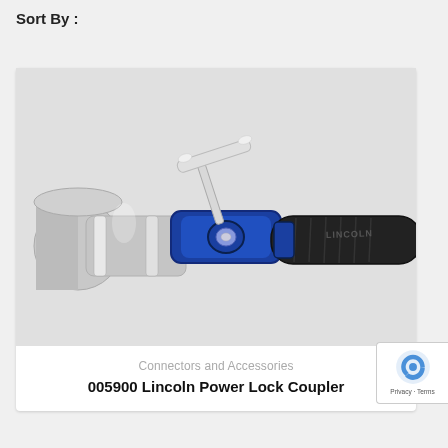Sort By :
[Figure (photo): Close-up photo of a Lincoln Power Lock Coupler — a blue metal coupler mechanism with a chrome lever/handle on top, connected to a black rubber grip handle on the right and a silver cylindrical fitting on the left.]
Connectors and Accessories
005900 Lincoln Power Lock Coupler